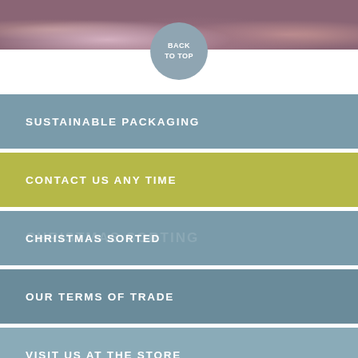[Figure (photo): Close-up photo of purple/red shallots or onions on a wooden surface, shown at the top of the page]
BACK TO TOP
SUSTAINABLE PACKAGING
CONTACT US ANY TIME
CHRISTMAS SORTED
OUR TERMS OF TRADE
VISIT US AT THE STORE